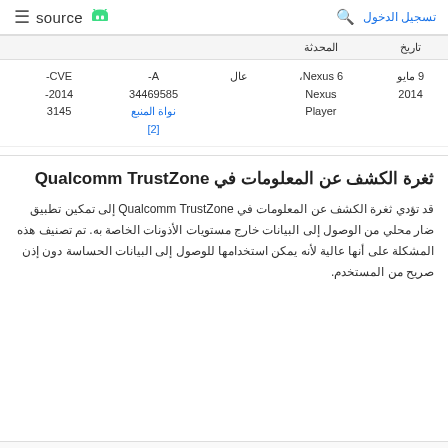source  تسجيل الدخول
| CVE | A- | عال | Nexus 6، Nexus Player | تاريخ | المحدثة |
| --- | --- | --- | --- | --- | --- |
| CVE-2014-3145 | A-34469585 نواة المنبع [2] | عال | Nexus 6، Nexus Player | 9 مايو 2014 |  |
ثغرة الكشف عن المعلومات في Qualcomm TrustZone
قد تؤدي ثغرة الكشف عن المعلومات في Qualcomm TrustZone إلى تمكين تطبيق ضار محلي من الوصول إلى البيانات خارج مستويات الأذونات الخاصة به. تم تصنيف هذه المشكلة على أنها عالية لأنه يمكن استخدامها للوصول إلى البيانات الحساسة دون إذن صريح من المستخدم.